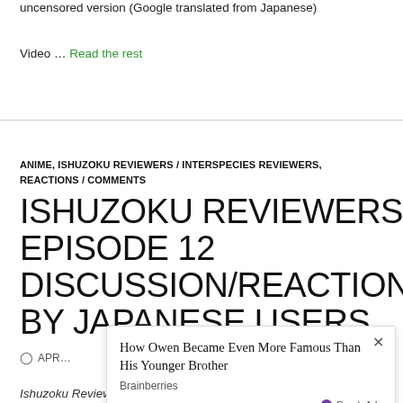uncensored version (Google translated from Japanese)
Video … Read the rest
ANIME, ISHUZOKU REVIEWERS / INTERSPECIES REVIEWERS, REACTIONS / COMMENTS
ISHUZOKU REVIEWERS EPISODE 12 DISCUSSION/REACTION/COM BY JAPANESE USERS
APR…
[Figure (other): Advertisement overlay: 'How Owen Became Even More Famous Than His Younger Brother' by Brainberries, with PurpleAds badge and close button]
Ishuzoku Reviewers / Interspecies Reviewers episode 12